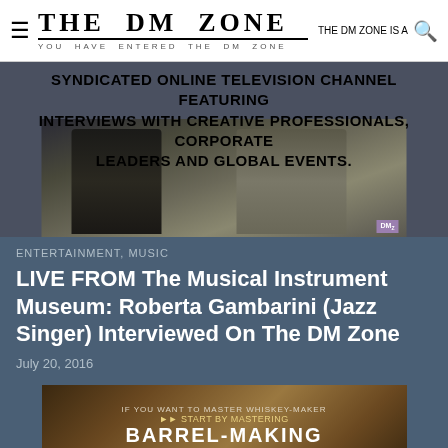THE DM ZONE — YOU HAVE ENTERED THE DM ZONE | THE DM ZONE IS A 🔍
[Figure (photo): Two women at an event; one holding a microphone. Text overlay: SYNDICATED ONLINE TELEVISION CHANNEL FEATURING INTERVIEWS WITH CREATIVE PROFESSIONALS, CORPORATE LEADERS AND GLOBAL EVENTS.]
ENTERTAINMENT, MUSIC
LIVE FROM The Musical Instrument Museum: Roberta Gambarini (Jazz Singer) Interviewed On The DM Zone
July 20, 2016
[Figure (photo): Sign reading: IF YOU WANT TO MASTER WHISKEY-MAKER, START BY MASTERING BARREL-MAKING]